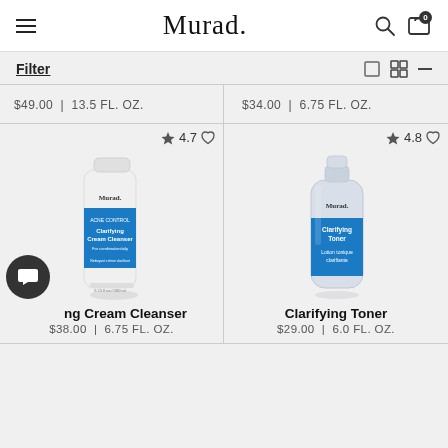Murad.
Filter
$49.00  |  13.5 FL. OZ.
$34.00  |  6.75 FL. OZ.
[Figure (photo): Murad Acne Control Clarifying Cream Cleanser tube, white with blue label]
[Figure (photo): Murad Clarifying Toner bottle, silver/white with blue label]
ing Cream Cleanser
$38.00  |  6.75 FL. OZ.
Clarifying Toner
$29.00  |  6.0 FL. OZ.